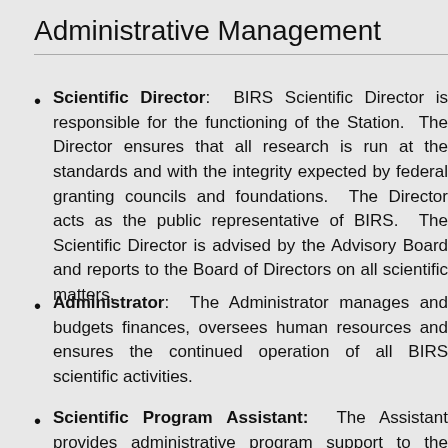Administrative Management
Scientific Director: BIRS Scientific Director is responsible for the functioning of the Station. The Director ensures that all research is run at the standards and with the integrity expected by federal granting councils and foundations. The Director acts as the public representative of BIRS. The Scientific Director is advised by the Advisory Board and reports to the Board of Directors on all scientific matters.
Administrator: The Administrator manages and budgets finances, oversees human resources and ensures the continued operation of all BIRS scientific activities.
Scientific Program Assistant: The Assistant provides administrative program support to the Scientific Director, performs web updates, and compiles BIRS publications and scientific reports from workshops.
Scientific Program Coordinator: BIRS Program Co...